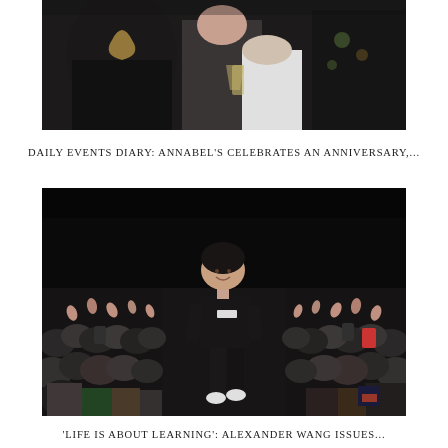[Figure (photo): Top portion of a photo showing people at an event, dark clothing, someone holding a glass of champagne]
DAILY EVENTS DIARY: ANNABEL'S CELEBRATES AN ANNIVERSARY,...
[Figure (photo): Alexander Wang walking the runway in a black t-shirt and black pants, audience applauding on both sides of the runway]
'LIFE IS ABOUT LEARNING': ALEXANDER WANG ISSUES...